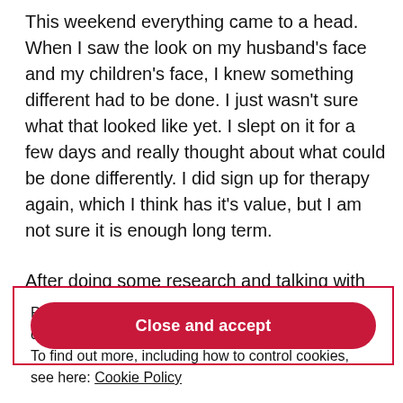This weekend everything came to a head. When I saw the look on my husband’s face and my children’s face, I knew something different had to be done. I just wasn’t sure what that looked like yet. I slept on it for a few days and really thought about what could be done differently. I did sign up for therapy again, which I think has it’s value, but I am not sure it is enough long term.
After doing some research and talking with friends and
Privacy & Cookies: This site uses cookies. By continuing to use this website, you agree to their use.
To find out more, including how to control cookies, see here: Cookie Policy
Close and accept
...